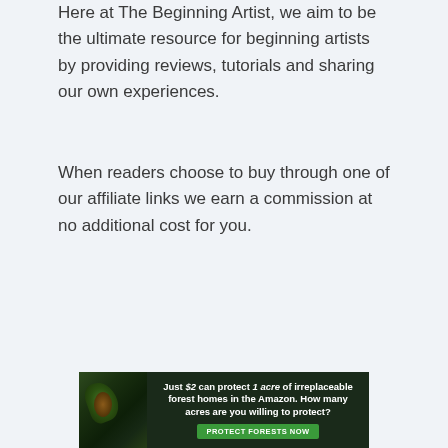Here at The Beginning Artist, we aim to be the ultimate resource for beginning artists by providing reviews, tutorials and sharing our own experiences.
When readers choose to buy through one of our affiliate links we earn a commission at no additional cost for you.
[Figure (infographic): Advertisement banner: dark forest background with bird/animal image on left. Text reads: 'Just $2 can protect 1 acre of irreplaceable forest homes in the Amazon. How many acres are you willing to protect?' with a green 'PROTECT FORESTS NOW' button.]